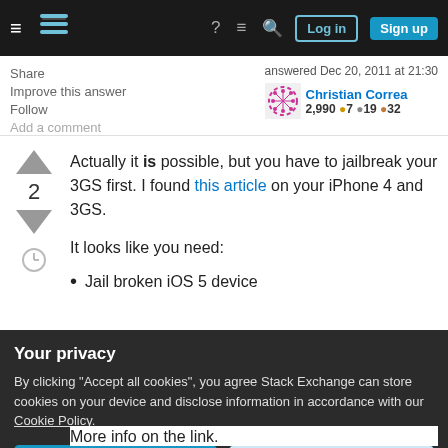Stack Exchange navigation bar with hamburger menu, logo, help, chat, search icons, Log in and Sign up buttons
Share
Improve this answer
Follow
Add a comment
answered Dec 20, 2011 at 21:30
Christian Correa
2,990 ●7 ●19 ●32
Actually it is possible, but you have to jailbreak your 3GS first. I found this article on your iPhone 4 and 3GS.
It looks like you need:
Jail broken iOS 5 device
Your privacy
By clicking "Accept all cookies", you agree Stack Exchange can store cookies on your device and disclose information in accordance with our Cookie Policy.
Accept all cookies
Customize settings
More info on the link.